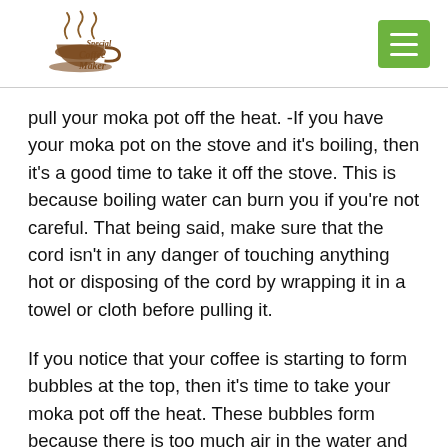Special Coffee Maker
pull your moka pot off the heat. -If you have your moka pot on the stove and it's boiling, then it's a good time to take it off the stove. This is because boiling water can burn you if you're not careful. That being said, make sure that the cord isn't in any danger of touching anything hot or disposing of the cord by wrapping it in a towel or cloth before pulling it.
If you notice that your coffee is starting to form bubbles at the top, then it's time to take your moka pot off the heat. These bubbles form because there is too much air in the water and grounds which means that you don't have enough pressure inside the pot for proper brewing. When this happens, it's usually best to remove from heat and let things cool down for 5 minutes before trying again.